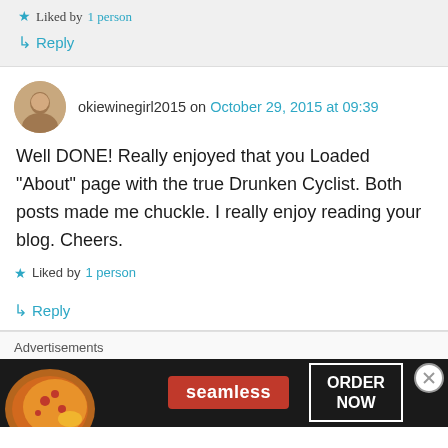★ Liked by 1 person
↳ Reply
okiewinegirl2015 on October 29, 2015 at 09:39
Well DONE! Really enjoyed that you Loaded “About” page with the true Drunken Cyclist. Both posts made me chuckle. I really enjoy reading your blog. Cheers.
★ Liked by 1 person
↳ Reply
Advertisements
[Figure (screenshot): Seamless food delivery advertisement banner with pizza image and 'ORDER NOW' call to action]